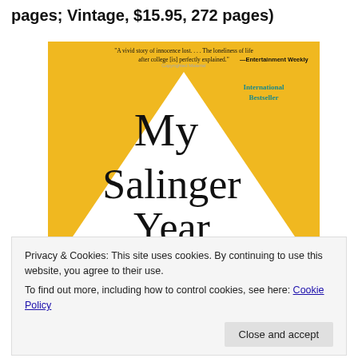pages; Vintage, $15.95, 272 pages)
[Figure (illustration): Book cover of 'My Salinger Year' on a yellow/golden background with a white triangle shape in the center. Cover includes a quote: '"A vivid story of innocence lost. . . . The loneliness of life after college [is] perfectly explained." —Entertainment Weekly' and an 'International Bestseller' badge in teal. The book title 'My Salinger Year' is written in a cursive/handwritten style.]
Privacy & Cookies: This site uses cookies. By continuing to use this website, you agree to their use.
To find out more, including how to control cookies, see here: Cookie Policy
Close and accept